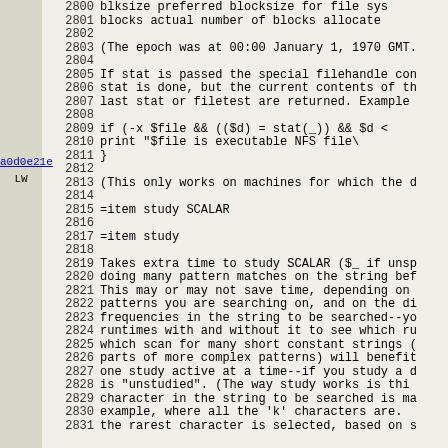2800   blksize   preferred blocksize for file sys
2801   blocks    actual number of blocks allocate
2802
2803   (The epoch was at 00:00 January 1, 1970 GMT.
2804
2805   If stat is passed the special filehandle con
2806   stat is done, but the current contents of th
2807   last stat or filetest are returned.  Example
2808
2809       if (-x $file && (($d) = stat(_)) && $d <
2810           print "$file is executable NFS file\
2811       }
2812
2813   (This only works on machines for which the d
2814
2815   =item study SCALAR
2816
2817   =item study
2818
2819   Takes extra time to study SCALAR ($_ if unsp
2820   doing many pattern matches on the string bef
2821   This may or may not save time, depending on
2822   patterns you are searching on, and on the di
2823   frequencies in the string to be searched--yo
2824   runtimes with and without it to see which ru
2825   which scan for many short constant strings (
2826   parts of more complex patterns) will benefit
2827   one study active at a time--if you study a d
2828   is "unstudied".  (The way study works is thi
2829   character in the string to be searched is ma
2830   example, where all the 'k' characters are.
2831   the rarest character is selected, based on s